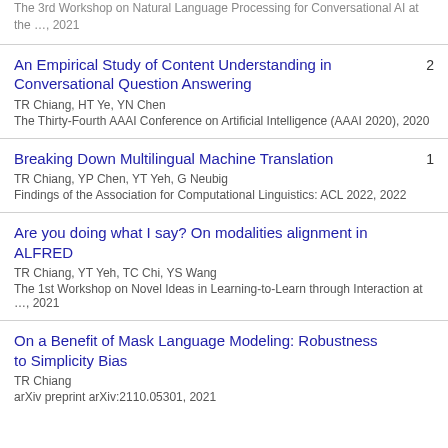The 3rd Workshop on Natural Language Processing for Conversational AI at the …, 2021
An Empirical Study of Content Understanding in Conversational Question Answering
TR Chiang, HT Ye, YN Chen
The Thirty-Fourth AAAI Conference on Artificial Intelligence (AAAI 2020), 2020
citations: 2
Breaking Down Multilingual Machine Translation
TR Chiang, YP Chen, YT Yeh, G Neubig
Findings of the Association for Computational Linguistics: ACL 2022, 2022
citations: 1
Are you doing what I say? On modalities alignment in ALFRED
TR Chiang, YT Yeh, TC Chi, YS Wang
The 1st Workshop on Novel Ideas in Learning-to-Learn through Interaction at …, 2021
On a Benefit of Mask Language Modeling: Robustness to Simplicity Bias
TR Chiang
arXiv preprint arXiv:2110.05301, 2021